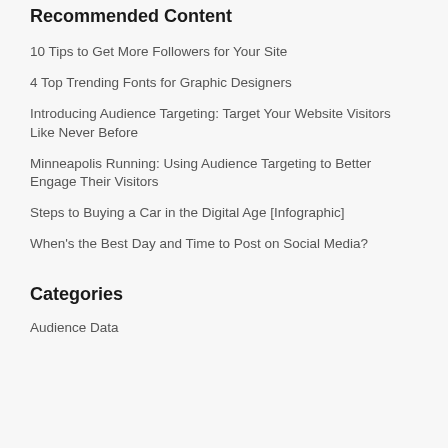Recommended Content
10 Tips to Get More Followers for Your Site
4 Top Trending Fonts for Graphic Designers
Introducing Audience Targeting: Target Your Website Visitors Like Never Before
Minneapolis Running: Using Audience Targeting to Better Engage Their Visitors
Steps to Buying a Car in the Digital Age [Infographic]
When's the Best Day and Time to Post on Social Media?
Categories
Audience Data